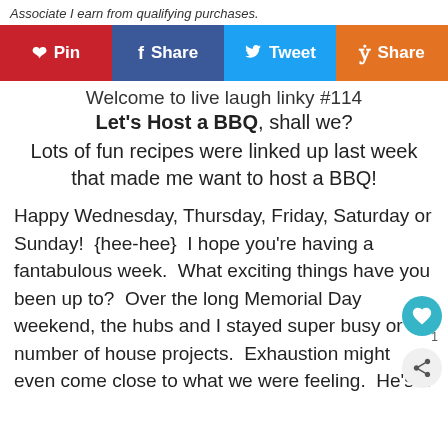Associate I earn from qualifying purchases.
[Figure (infographic): Social share buttons: Pin (red/Pinterest), Share (blue/Facebook), Tweet (light blue/Twitter), Share (orange/Yummly)]
Welcome to live laugh linky #114
Let's Host a BBQ, shall we?
Lots of fun recipes were linked up last week that made me want to host a BBQ!
Happy Wednesday, Thursday, Friday, Saturday or Sunday!  {hee-hee}  I hope you’re having a fantabulous week.  What exciting things have you been up to?  Over the long Memorial Day weekend, the hubs and I stayed super busy or number of house projects.  Exhaustion might even come close to what we were feeling.  He’s a